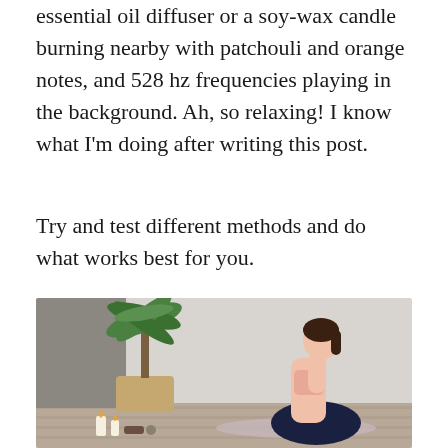essential oil diffuser or a soy-wax candle burning nearby with patchouli and orange notes, and 528 hz frequencies playing in the background. Ah, so relaxing! I know what I'm doing after writing this post.
Try and test different methods and do what works best for you.
[Figure (photo): A woman in a pink sports bra and navy yoga pants kneeling on a mat in prayer pose (hands pressed together at chest), viewed from the side. Behind her is a large potted palm plant in a woven basket. In the foreground are candles and small objects. The setting is a minimalist studio with light walls and a wood floor.]